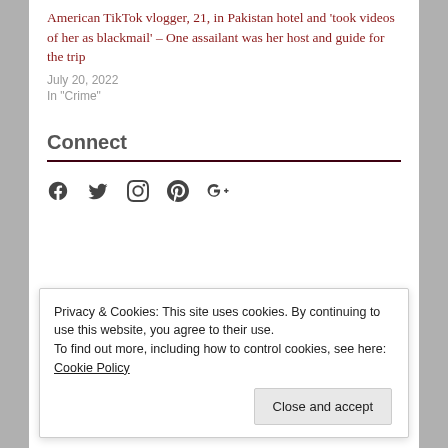American TikTok vlogger, 21, in Pakistan hotel and 'took videos of her as blackmail' – One assailant was her host and guide for the trip
July 20, 2022
In "Crime"
Connect
[Figure (other): Social media icons: Facebook, Twitter, Instagram, Pinterest, Google+]
Privacy & Cookies: This site uses cookies. By continuing to use this website, you agree to their use.
To find out more, including how to control cookies, see here: Cookie Policy
Close and accept